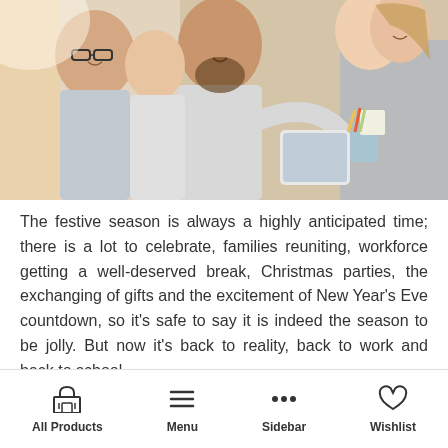[Figure (photo): Group of smiling colleagues gathered around a laptop/tablet in an office setting, looking happy and engaged]
The festive season is always a highly anticipated time; there is a lot to celebrate, families reuniting, workforce getting a well-deserved break, Christmas parties, the exchanging of gifts and the excitement of New Year's Eve countdown, so it's safe to say it is indeed the season to be jolly. But now it's back to reality, back to work and back to school.
All Products  Menu  Sidebar  Wishlist